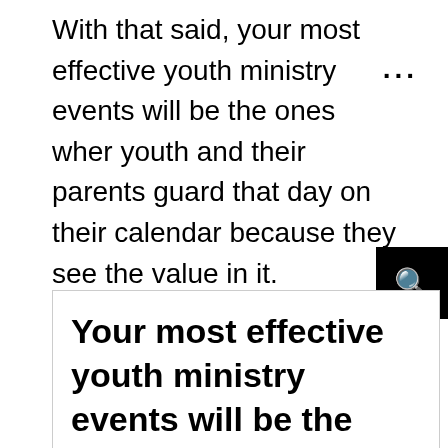With that said, your most effective youth ministry events will be the ones wher youth and their parents guard that day on their calendar because they see the value in it.
Your most effective youth ministry events will be the ones where youth and their parents guard that day on their